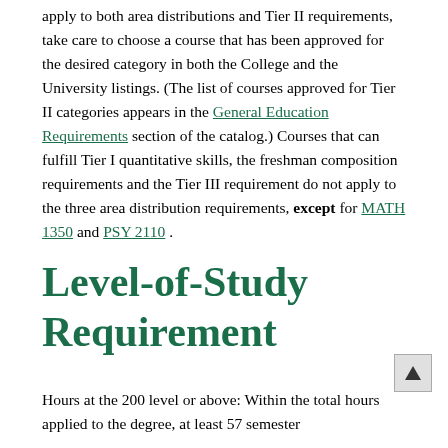apply to both area distributions and Tier II requirements, take care to choose a course that has been approved for the desired category in both the College and the University listings. (The list of courses approved for Tier II categories appears in the General Education Requirements section of the catalog.) Courses that can fulfill Tier I quantitative skills, the freshman composition requirements and the Tier III requirement do not apply to the three area distribution requirements, except for MATH 1350 and PSY 2110 .
Level-of-Study Requirement
Hours at the 200 level or above: Within the total hours applied to the degree, at least 57 semester